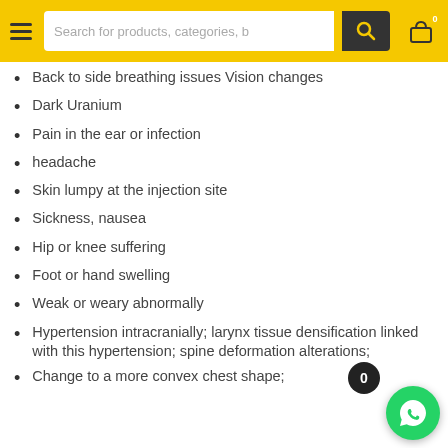Search for products, categories, b
Back to side breathing issues Vision changes
Dark Uranium
Pain in the ear or infection
headache
Skin lumpy at the injection site
Sickness, nausea
Hip or knee suffering
Foot or hand swelling
Weak or weary abnormally
Hypertension intracranially; larynx tissue densification linked with this hypertension; spine deformation alterations;
Change to a more convex chest shape;